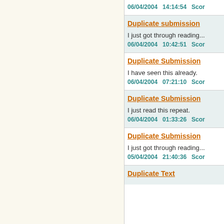06/04/2004   14:14:54   Scor
Duplicate submission
I just got through reading...
06/04/2004   10:42:51   Scor
Duplicate Submission
I have seen this already.
06/04/2004   07:21:10   Scor
Duplicate Submission
I just read this repeat.
06/04/2004   01:33:26   Scor
Duplicate Submission
I just got through reading...
05/04/2004   21:40:36   Scor
Duplicate Text